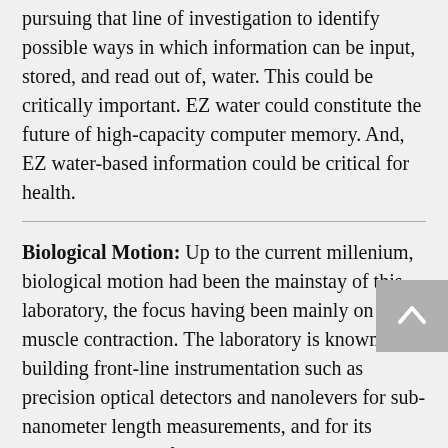pursuing that line of investigation to identify possible ways in which information can be input, stored, and read out of, water. This could be critically important. EZ water could constitute the future of high-capacity computer memory. And, EZ water-based information could be critical for health.
Biological Motion: Up to the current millenium, biological motion had been the mainstay of this laboratory, the focus having been mainly on muscle contraction. The laboratory is known for building front-line instrumentation such as precision optical detectors and nanolevers for sub-nanometer length measurements, and for its penetrating tests of prevailing molecular theories. The award-winning 1990 book, Muscles and Molecules: Uncovering the Principles of Biological Motion (www.ebnerandsons.com)